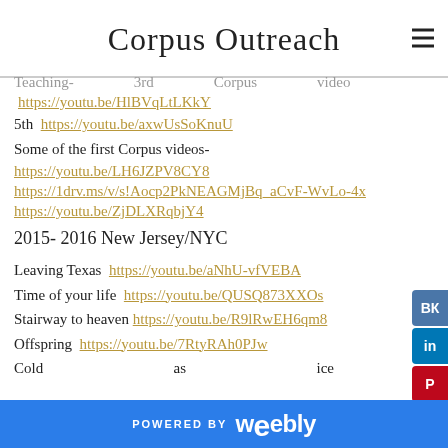Corpus Outreach
Teaching-   3rd   Corpus   video
https://youtu.be/HlBVqLtLKkY
5th  https://youtu.be/axwUsSoKnuU
Some of the first Corpus videos-
https://youtu.be/LH6JZPV8CY8
https://1drv.ms/v/s!Aocp2PkNEAGMjBq_aCvF-WvLo-4x
https://youtu.be/ZjDLXRqbjY4
2015- 2016 New Jersey/NYC
Leaving Texas  https://youtu.be/aNhU-vfVEBA
Time of your life  https://youtu.be/QUSQ873XXOs
Stairway to heaven https://youtu.be/R9lRwEH6qm8
Offspring  https://youtu.be/7RtyRAh0PJw
Cold                as               ice
POWERED BY weebly